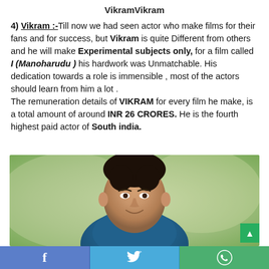VikramVikram
4) Vikram :-Till now we had seen actor who make films for their fans and for success, but Vikram is quite Different from others and he will make Experimental subjects only, for a film called I (Manoharudu ) his hardwork was Unmatchable. His dedication towards a role is immensible , most of the actors should learn from him a lot . The remuneration details of VIKRAM for every film he make, is a total amount of around INR 26 CRORES. He is the fourth highest paid actor of South india.
[Figure (photo): Portrait photo of a young Indian male actor smiling, wearing a teal/blue shirt, with blurred green background]
Facebook share | Twitter share | WhatsApp share